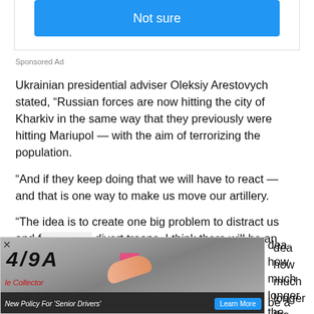[Figure (screenshot): Blue 'Not sure' button UI element]
Sponsored Ad
Ukrainian presidential adviser Oleksiy Arestovych stated, “Russian forces are now hitting the city of Kharkiv in the same way that they previously were hitting Mariupol — with the aim of terrorizing the population.
“And if they keep doing that we will have to react — and that is one way to make us move our artillery.
“The idea is to create one big problem to distract us and force us to divert troops. I think there will be an
[Figure (screenshot): Advertisement overlay showing a license plate with '479A' text, a finger pointing at a pink sticker, text 'le Collector', and a bottom bar reading 'New Policy For Senior Drivers' with a 'Learn More' blue button]
dea how much longer the world can sit while this happens.
be a monster beyond our wildest